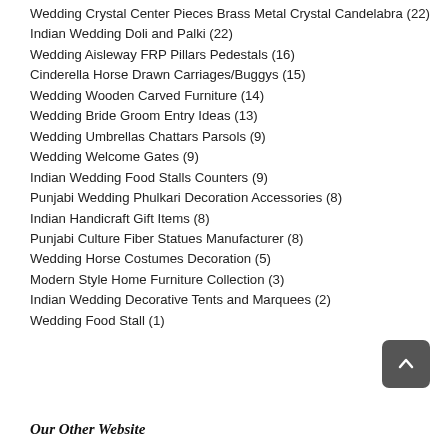Wedding Crystal Center Pieces Brass Metal Crystal Candelabra (22)
Indian Wedding Doli and Palki (22)
Wedding Aisleway FRP Pillars Pedestals (16)
Cinderella Horse Drawn Carriages/Buggys (15)
Wedding Wooden Carved Furniture (14)
Wedding Bride Groom Entry Ideas (13)
Wedding Umbrellas Chattars Parsols (9)
Wedding Welcome Gates (9)
Indian Wedding Food Stalls Counters (9)
Punjabi Wedding Phulkari Decoration Accessories (8)
Indian Handicraft Gift Items (8)
Punjabi Culture Fiber Statues Manufacturer (8)
Wedding Horse Costumes Decoration (5)
Modern Style Home Furniture Collection (3)
Indian Wedding Decorative Tents and Marquees (2)
Wedding Food Stall (1)
Our Other Website